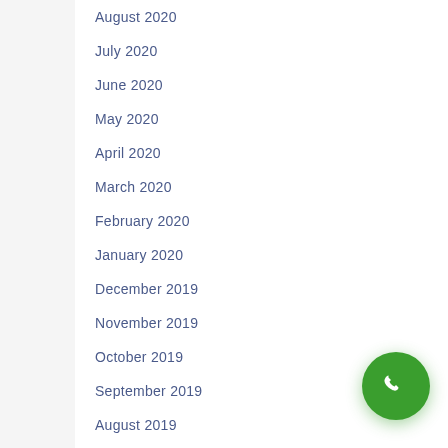August 2020
July 2020
June 2020
May 2020
April 2020
March 2020
February 2020
January 2020
December 2019
November 2019
October 2019
September 2019
August 2019
July 2019
June 2019
May 2019
April 2019
March 2019
February 2019
January 2019
[Figure (illustration): Green circular phone/call button in bottom right corner]